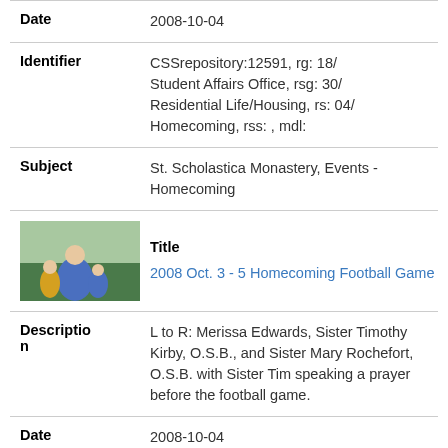| Field | Value |
| --- | --- |
| Date | 2008-10-04 |
| Identifier | CSSrepository:12591, rg: 18/ Student Affairs Office, rsg: 30/ Residential Life/Housing, rs: 04/ Homecoming, rss: , mdl: |
| Subject | St. Scholastica Monastery, Events - Homecoming |
| Title | 2008 Oct. 3 - 5 Homecoming Football Game |
| Description | L to R: Merissa Edwards, Sister Timothy Kirby, O.S.B., and Sister Mary Rochefort, O.S.B. with Sister Tim speaking a prayer before the football game. |
| Date | 2008-10-04 |